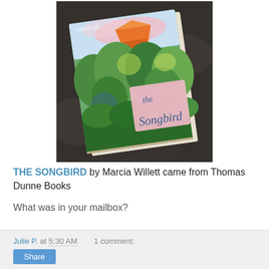[Figure (photo): Photo of a book titled 'The Songbird' by Marcia Willett, placed on a dark granite surface. The book cover shows a colorful painted illustration with green foliage and an orange/red structure. A pink label with 'the Songbird' text is on the cover.]
THE SONGBIRD by Marcia Willett came from Thomas Dunne Books
What was in your mailbox?
Julie P. at 5:30 AM   1 comment:   Share